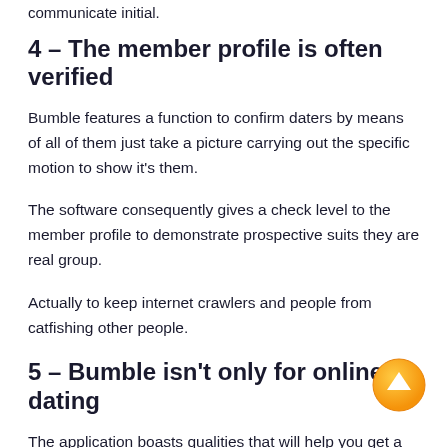communicate initial.
4 – The member profile is often verified
Bumble features a function to confirm daters by means of all of them just take a picture carrying out the specific motion to show it's them.
The software consequently gives a check level to the member profile to demonstrate prospective suits they are real group.
Actually to keep internet crawlers and people from catfishing other people.
5 – Bumble isn't only for online dating
The application boasts qualities that will help you get a hold